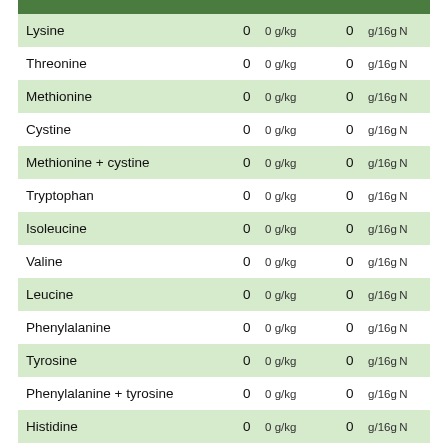|  |  |  |  |
| --- | --- | --- | --- |
| Lysine | 0 | 0 g/kg | 0 g/16g N |
| Threonine | 0 | 0 g/kg | 0 g/16g N |
| Methionine | 0 | 0 g/kg | 0 g/16g N |
| Cystine | 0 | 0 g/kg | 0 g/16g N |
| Methionine + cystine | 0 | 0 g/kg | 0 g/16g N |
| Tryptophan | 0 | 0 g/kg | 0 g/16g N |
| Isoleucine | 0 | 0 g/kg | 0 g/16g N |
| Valine | 0 | 0 g/kg | 0 g/16g N |
| Leucine | 0 | 0 g/kg | 0 g/16g N |
| Phenylalanine | 0 | 0 g/kg | 0 g/16g N |
| Tyrosine | 0 | 0 g/kg | 0 g/16g N |
| Phenylalanine + tyrosine | 0 | 0 g/kg | 0 g/16g N |
| Histidine | 0 | 0 g/kg | 0 g/16g N |